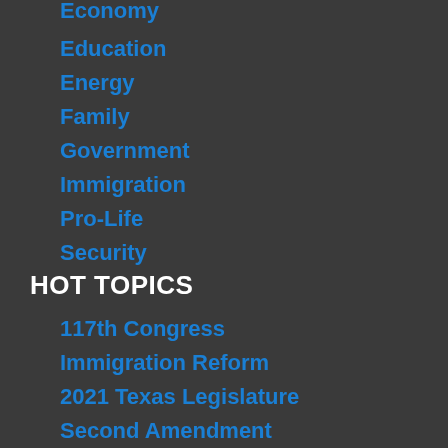Economy
Education
Energy
Family
Government
Immigration
Pro-Life
Security
HOT TOPICS
117th Congress
Immigration Reform
2021 Texas Legislature
Second Amendment
DACA
Border Security
ID and Tax
Rational Middle
2020 Elections